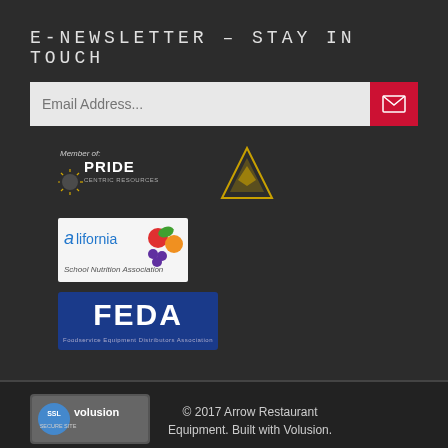E-NEWSLETTER - STAY IN TOUCH
Email Address...
[Figure (logo): Member of PRIDE Centric Resources logo with sunburst icon]
[Figure (logo): Gold pyramid/triangle logo]
[Figure (logo): California School Nutrition Association logo with fruits]
[Figure (logo): FEDA - Foodservice Equipment Distributors Association blue logo]
[Figure (logo): SSL Volusion Secure Site badge]
© 2017 Arrow Restaurant Equipment. Built with Volusion.
We Accept:
[Figure (other): Payment method icons: Visa, Mastercard, PayPal, Discover, American Express]